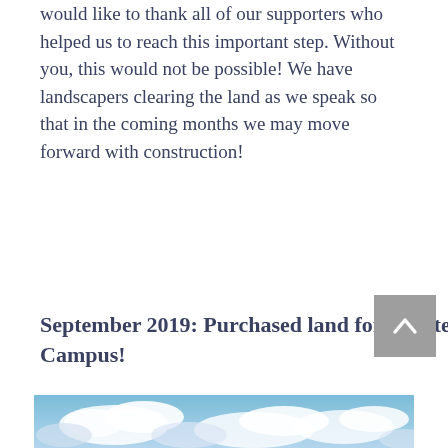would like to thank all of our supporters who helped us to reach this important step. Without you, this would not be possible! We have landscapers clearing the land as we speak so that in the coming months we may move forward with construction!
September 2019: Purchased land for Create Academy Campus!
[Figure (photo): Partial photo of a blue sky with white clouds.]